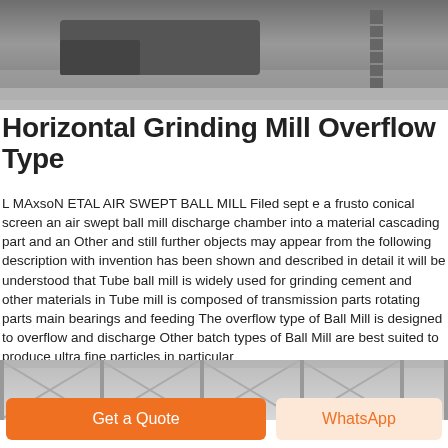[Figure (photo): Industrial facility interior with heavy machinery and a truck visible on a polished concrete floor]
Horizontal Grinding Mill Overflow Type
L MAxsoN ETAL AIR SWEPT BALL MILL Filed sept e a frusto conical screen an air swept ball mill discharge chamber into a material cascading part and an Other and still further objects may appear from the following description with invention has been shown and described in detail it will be understood that Tube ball mill is widely used for grinding cement and other materials in Tube mill is composed of transmission parts rotating parts main bearings and feeding The overflow type of Ball Mill is designed to overflow and discharge Other batch types of Ball Mill are best suited to produce ultra fine particles in particular
[Figure (photo): Industrial warehouse interior with steel frame structure and natural lighting from roof panels]
Get a Quote
WhatsApp